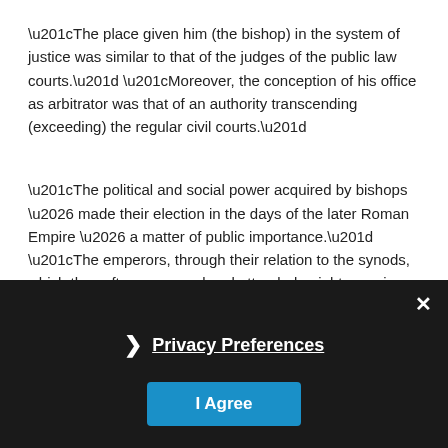“The place given him (the bishop) in the system of justice was similar to that of the judges of the public law courts.” “Moreover, the conception of his office as arbitrator was that of an authority transcending (exceeding) the regular civil courts.”
“The political and social power acquired by bishops … made their election in the days of the later Roman Empire … a matter of public importance.” “The emperors, through their relation to the synods, which they often convened and attended, might exercise a direct influence on elections.”
Privacy Preferences
I Agree